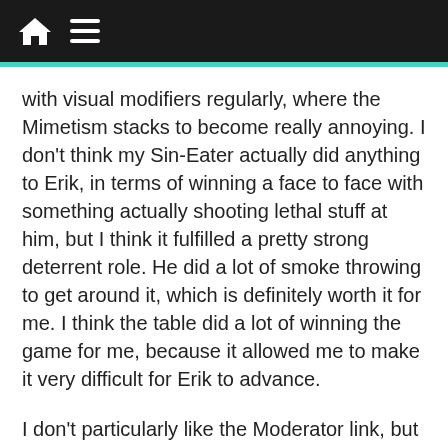Home / Menu navigation bar
with visual modifiers regularly, where the Mimetism stacks to become really annoying. I don’t think my Sin-Eater actually did anything to Erik, in terms of winning a face to face with something actually shooting lethal stuff at him, but I think it fulfilled a pretty strong deterrent role. He did a lot of smoke throwing to get around it, which is definitely worth it for me. I think the table did a lot of winning the game for me, because it allowed me to make it very difficult for Erik to advance.
I don’t particularly like the Moderator link, but it was… fine. It’s a reasonable thing to take, gives you 5 orders and two useful guns for really cheap. I’d much rather have a single Taskmaster, but that